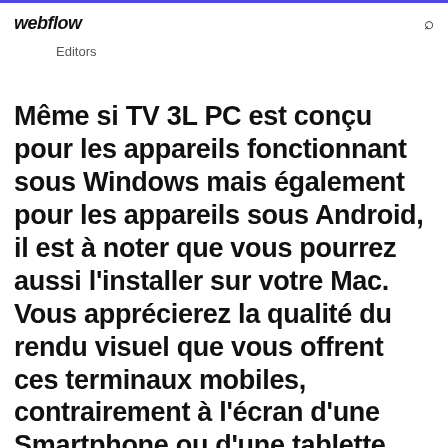webflow | Editors
Même si TV 3L PC est conçu pour les appareils fonctionnant sous Windows mais également pour les appareils sous Android, il est à noter que vous pourrez aussi l'installer sur votre Mac. Vous apprécierez la qualité du rendu visuel que vous offrent ces terminaux mobiles, contrairement à l'écran d'une Smartphone ou d'une tablette.